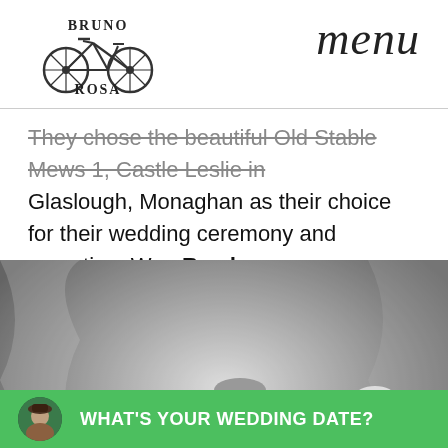Bruno Rosa | menu
They chose the beautiful Old Stable Mews 1, Castle Leslie in Glaslough, Monaghan as their choice for their wedding ceremony and reception. W ... Read more
[Figure (photo): Black and white photo of a bride and groom cutting a multi-tier wedding cake together, both smiling. The bride wears a lace dress and bracelet, the groom wears a tuxedo with bow tie.]
WHAT'S YOUR WEDDING DATE?